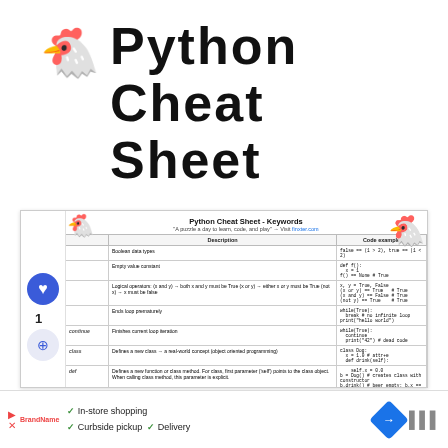🐔 Python Cheat Sheet
[Figure (screenshot): Screenshot of a Python Cheat Sheet page showing keywords table with columns for keyword, description, and code examples. Includes chicken mascot illustrations, heart/share buttons in sidebar, and rows for boolean data types, empty value, logical operators, infinite loop, continue, class, and def keywords.]
✓ In-store shopping  ✓ Curbside pickup  ✓ Delivery